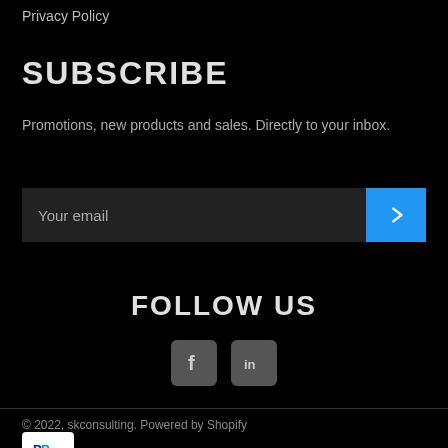Privacy Policy
SUBSCRIBE
Promotions, new products and sales. Directly to your inbox.
Your email
FOLLOW US
[Figure (logo): Facebook and LinkedIn social media icons]
© 2022, skconsulting. Powered by Shopify
[Figure (logo): PayPal payment badge]